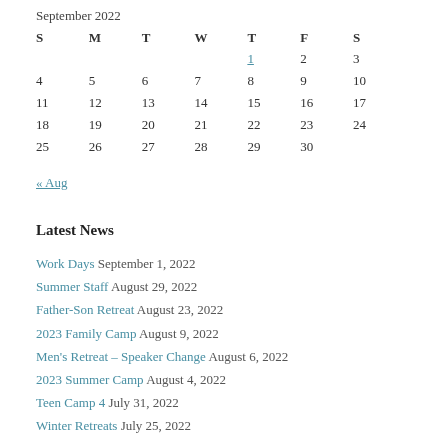| S | M | T | W | T | F | S |
| --- | --- | --- | --- | --- | --- | --- |
|  |  |  |  | 1 | 2 | 3 |
| 4 | 5 | 6 | 7 | 8 | 9 | 10 |
| 11 | 12 | 13 | 14 | 15 | 16 | 17 |
| 18 | 19 | 20 | 21 | 22 | 23 | 24 |
| 25 | 26 | 27 | 28 | 29 | 30 |  |
« Aug
Latest News
Work Days September 1, 2022
Summer Staff August 29, 2022
Father-Son Retreat August 23, 2022
2023 Family Camp August 9, 2022
Men's Retreat – Speaker Change August 6, 2022
2023 Summer Camp August 4, 2022
Teen Camp 4 July 31, 2022
Winter Retreats July 25, 2022